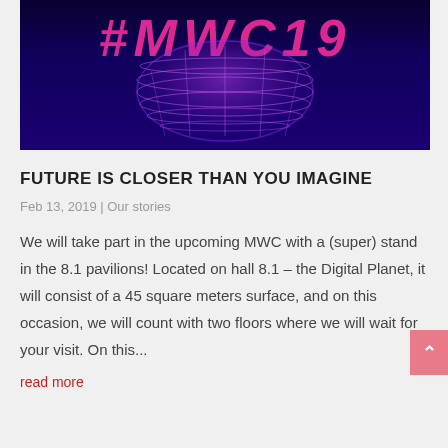[Figure (illustration): Dark purple/navy background hero image with pink/magenta large bold italic text '#MWC19' partially visible at top, and a glowing purple wire-frame orb/sphere shape in the center-bottom area]
FUTURE IS CLOSER THAN YOU IMAGINE
Feb 13, 2019 | Our stories
We will take part in the upcoming MWC with a (super) stand in the 8.1 pavilions! Located on hall 8.1 – the Digital Planet, it will consist of a 45 square meters surface, and on this occasion, we will count with two floors where we will wait for your visit. On this...
read more